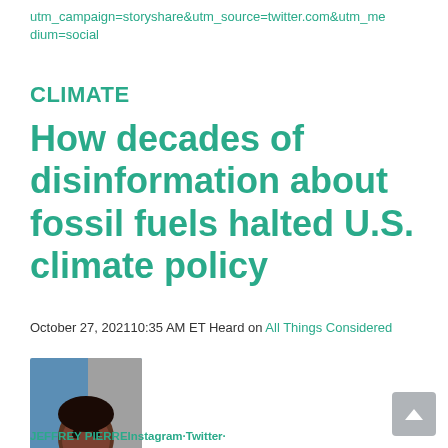utm_campaign=storyshare&utm_source=twitter.com&utm_medium=social
CLIMATE
How decades of disinformation about fossil fuels halted U.S. climate policy
October 27, 202110:35 AM ET Heard on All Things Considered
[Figure (photo): Headshot of Jeffrey Pierre, a young Black man smiling, wearing a yellow turtleneck sweater, photographed against a blue and grey background.]
JEFFREY PIERREInstagram·Twitter·